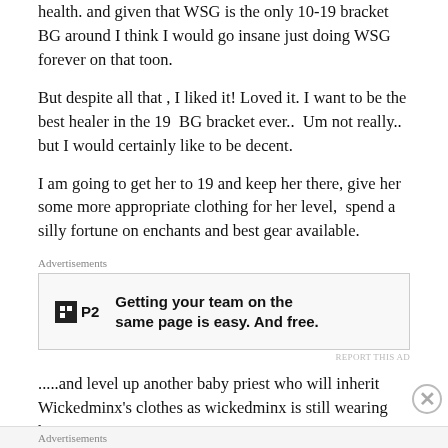health. and given that WSG is the only 10-19 bracket BG around I think I would go insane just doing WSG forever on that toon.
But despite all that , I liked it! Loved it. I want to be the best healer in the 19  BG bracket ever..  Um not really.. but I would certainly like to be decent.
I am going to get her to 19 and keep her there, give her some more appropriate clothing for her level,  spend a silly fortune on enchants and best gear available.
Advertisements
[Figure (other): Advertisement banner for P2 - Getting your team on the same page is easy. And free.]
REPORT THIS AD
.....and level up another baby priest who will inherit Wickedminx's clothes as wickedminx is still wearing her
Advertisements